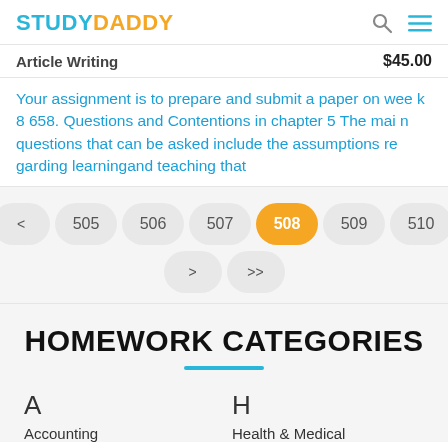STUDYDADDY
Article Writing  $45.00
Your assignment is to prepare and submit a paper on week 8 658. Questions and Contentions in chapter 5 The main questions that can be asked include the assumptions regarding learningand teaching that
<< < 505 506 507 508 509 510 511 > >>
HOMEWORK CATEGORIES
A
Accounting
H
Health & Medical